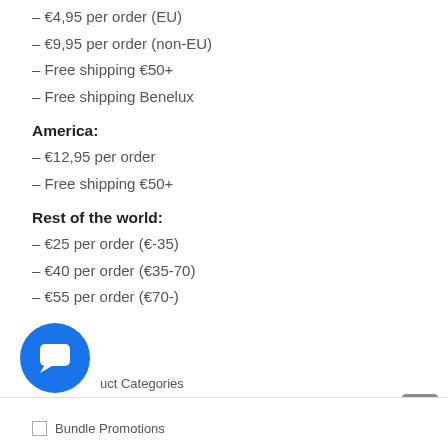– €4,95 per order (EU)
– €9,95 per order (non-EU)
– Free shipping €50+
– Free shipping Benelux
America:
– €12,95 per order
– Free shipping €50+
Rest of the world:
– €25 per order (€-35)
– €40 per order (€35-70)
– €55 per order (€70-)
[Figure (illustration): Blue circular chat button icon]
uct Categories
Bundle Promotions